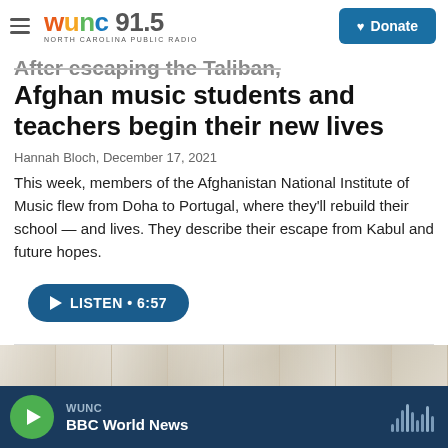WUNC 91.5 North Carolina Public Radio | Donate
After escaping the Taliban, Afghan music students and teachers begin their new lives
Hannah Bloch, December 17, 2021
This week, members of the Afghanistan National Institute of Music flew from Doha to Portugal, where they'll rebuild their school — and lives. They describe their escape from Kabul and future hopes.
[Figure (other): Listen audio player button: LISTEN • 6:57]
[Figure (photo): Photo of curtains or draped fabric in beige/cream tones]
WUNC BBC World News — audio player footer bar with play button